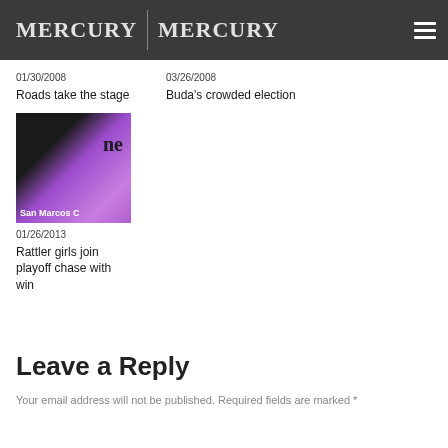MERCURY | MERCURY
01/30/2008
Roads take the stage
03/26/2008
Buda's crowded election
[Figure (photo): Newspaper thumbnail showing a purple snake or lizard with text 'San Marcos C' overlaid, partial newspaper nameplate visible]
01/26/2013
Rattler girls join playoff chase with win
Leave a Reply
Your email address will not be published. Required fields are marked *